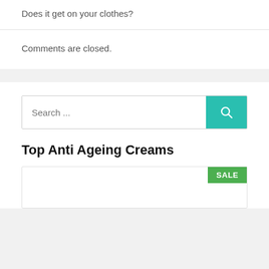Does it get on your clothes?
Comments are closed.
[Figure (other): Search input field with teal search button containing a magnifying glass icon]
Top Anti Ageing Creams
[Figure (other): Product card with green SALE badge in top-right corner]